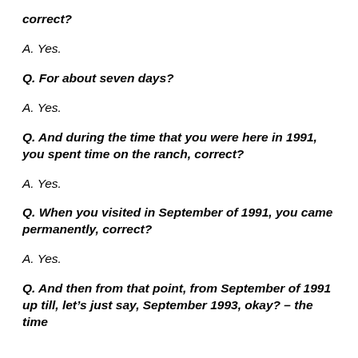correct?
A. Yes.
Q. For about seven days?
A. Yes.
Q. And during the time that you were here in 1991, you spent time on the ranch, correct?
A. Yes.
Q. When you visited in September of 1991, you came permanently, correct?
A. Yes.
Q. And then from that point, from September of 1991 up till, let’s just say, September 1993, okay? – the time